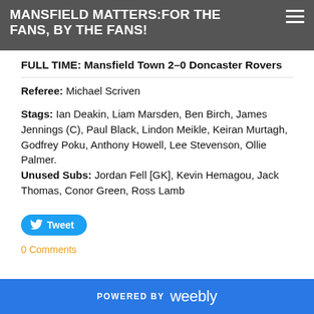MANSFIELD MATTERS: FOR THE FANS, BY THE FANS!
FULL TIME: Mansfield Town 2-0 Doncaster Rovers
Referee: Michael Scriven
Stags: Ian Deakin, Liam Marsden, Ben Birch, James Jennings (C), Paul Black, Lindon Meikle, Keiran Murtagh, Godfrey Poku, Anthony Howell, Lee Stevenson, Ollie Palmer. Unused Subs: Jordan Fell [GK], Kevin Hemagou, Jack Thomas, Conor Green, Ross Lamb
Tweet
0 Comments
POWERED BY weebly